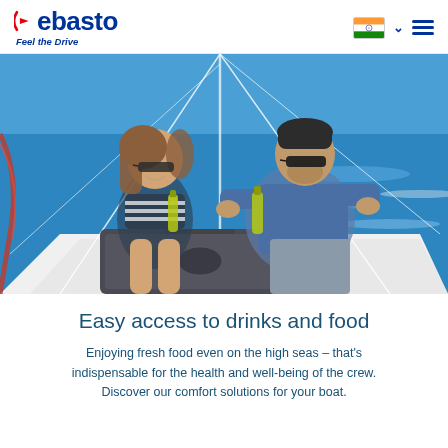[Figure (logo): Webasto logo with red W arrow icon and 'Feel the Drive' tagline in dark blue]
[Figure (photo): A couple sitting on a sailboat deck, holding drinks (beer bottles), smiling at each other. A portable cooler/refrigerator is visible in the foreground. Blue water and boat rigging in background.]
Easy access to drinks and food
Enjoying fresh food even on the high seas – that's indispensable for the health and well-being of the crew. Discover our comfort solutions for your boat.